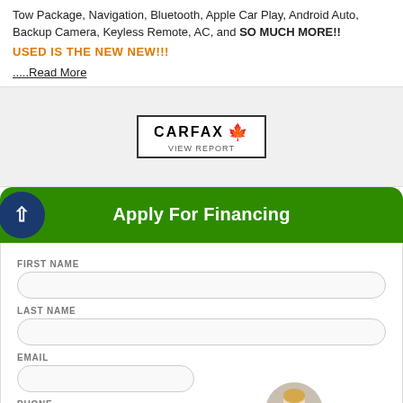Tow Package, Navigation, Bluetooth, Apple Car Play, Android Auto, Backup Camera, Keyless Remote, AC, and SO MUCH MORE!!
USED IS THE NEW NEW!!!
.....Read More
[Figure (logo): CARFAX Canada logo with VIEW REPORT text below]
Apply For Financing
FIRST NAME
LAST NAME
EMAIL
PHONE
[Figure (screenshot): Chat popup with female avatar, text 'Any sales questions? Connect with us now!' and TEXT and CHAT buttons]